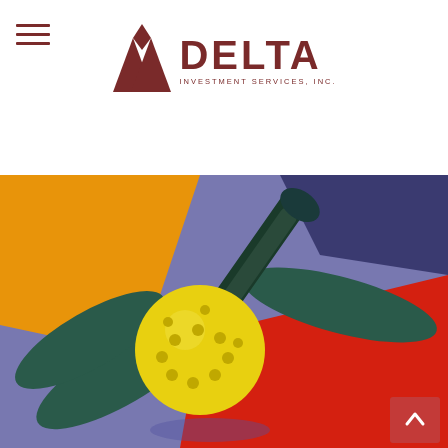[Figure (logo): Delta Investment Services, Inc. logo with triangular mountain icon in dark red/maroon and text DELTA INVESTMENT SERVICES, INC.]
[Figure (photo): Close-up photograph of pickleball paddles and a yellow pickleball on a colorful court surface with orange, blue, and red areas]